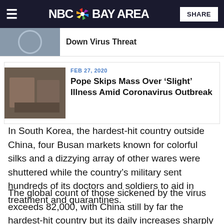NBC Bay Area
Down Virus Threat
FEB 27, 2020
Pope Skips Mass Over ‘Slight’ Illness Amid Coronavirus Outbreak
In South Korea, the hardest-hit country outside China, four Busan markets known for colorful silks and a dizzying array of other wares were shuttered while the country’s military sent hundreds of its doctors and soldiers to aid in treatment and quarantines.
The global count of those sickened by the virus exceeds 82,000, with China still by far the hardest-hit country but its daily increases sharply lowered.